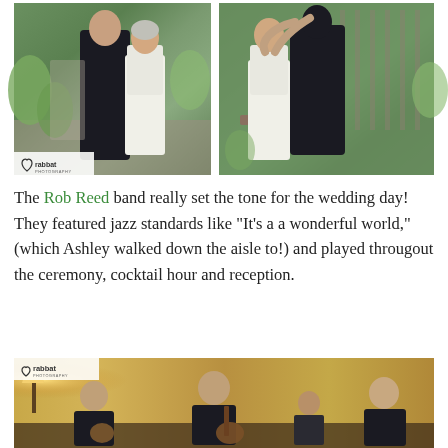[Figure (photo): Two wedding photos side by side. Left: bride in white dress and groom in dark suit standing in a garden. Right: couple embracing/dancing in a garden setting. Both photos have a 'rabbat photography' watermark in the bottom-left corner.]
The Rob Reed band really set the tone for the wedding day! They featured jazz standards like "It's a a wonderful world," (which Ashley walked down the aisle to!) and played througout the ceremony, cocktail hour and reception.
[Figure (photo): Photo of the Rob Reed band performing indoors. Several musicians in dark clothing are visible, one playing guitar. A warm lamp is visible in the background. The 'rabbat photography' watermark appears in the top-left corner.]